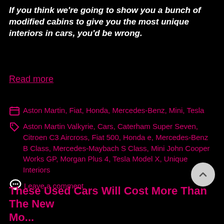If you think we're going to show you a bunch of modified cabins to give you the most unique interiors in cars, you'd be wrong.
Read more
Aston Martin, Fiat, Honda, Mercedes-Benz, Mini, Tesla
Aston Martin Valkyrie, Cars, Caterham Super Seven, Citroen C3 Aircross, Fiat 500, Honda e, Mercedes-Benz B Class, Mercedes-Maybach S Class, Mini John Cooper Works GP, Morgan Plus 4, Tesla Model X, Unique Interiors
Leave a comment
These Used Cars Will Cost More Than The New Mo...